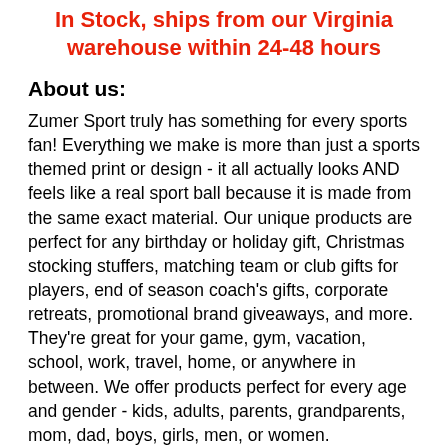In Stock, ships from our Virginia warehouse within 24-48 hours
About us:
Zumer Sport truly has something for every sports fan! Everything we make is more than just a sports themed print or design - it all actually looks AND feels like a real sport ball because it is made from the same exact material. Our unique products are perfect for any birthday or holiday gift, Christmas stocking stuffers, matching team or club gifts for players, end of season coach's gifts, corporate retreats, promotional brand giveaways, and more. They're great for your game, gym, vacation, school, work, travel, home, or anywhere in between. We offer products perfect for every age and gender - kids, adults, parents, grandparents, mom, dad, boys, girls, men, or women.